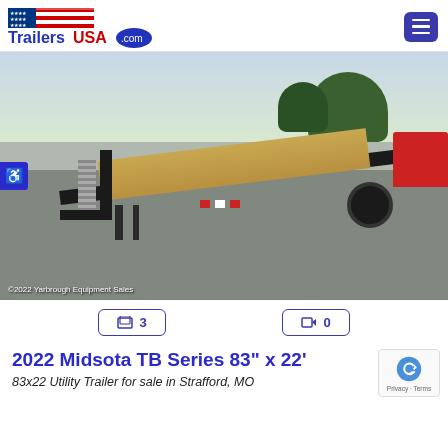TrailersUSA.com
[Figure (photo): A black Midsota TB Series tilt-bed equipment trailer with wood deck, parked in a lot with trees and equipment in the background. Copyright 2022 Yarbrough Equipment Sales.]
3 photos | 0 videos
2022 Midsota TB Series 83" x 22'
83x22 Utility Trailer for sale in Strafford, MO